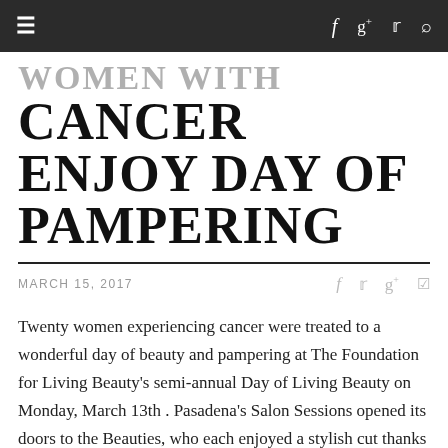≡  f  g+  𝕏  🔍
WOMEN WITH CANCER ENJOY DAY OF PAMPERING
MARCH 15, 2017
Twenty women experiencing cancer were treated to a wonderful day of beauty and pampering at The Foundation for Living Beauty's semi-annual Day of Living Beauty on Monday, March 13th. Pasadena's Salon Sessions opened its doors to the Beauties, who each enjoyed a stylish cut thanks to volunteer stylists at the salon. Stila cosmetics also sponsored the event, giving each participant a bag of stila cosmetics and a beauty